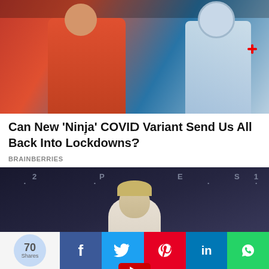[Figure (photo): Two people outdoors, one in orange/red shirt and one in medical protective gear, being assisted or transported]
Can New ‘Ninja’ COVID Variant Send Us All Back Into Lockdowns?
BRAINBERRIES
[Figure (photo): Young blonde woman in white turtleneck sleeveless outfit standing in front of a dark grid/door background with letters visible]
[Figure (infographic): Social share bar with 70 Shares bubble and Facebook, Twitter, Pinterest, LinkedIn, WhatsApp buttons]